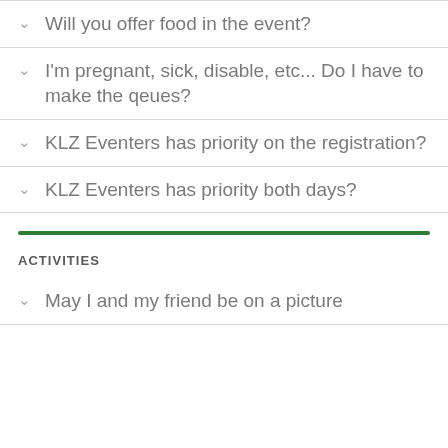Will you offer food in the event?
I'm pregnant, sick, disable, etc... Do I have to make the qeues?
KLZ Eventers has priority on the registration?
KLZ Eventers has priority both days?
ACTIVITIES
May I and my friend be on a picture